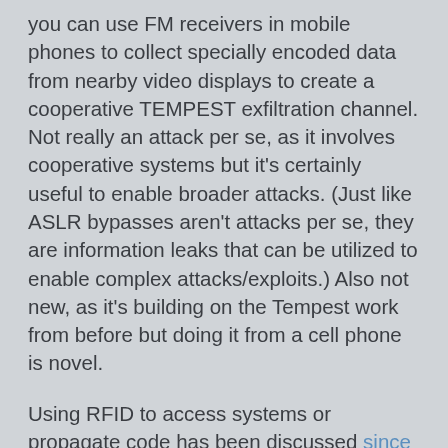you can use FM receivers in mobile phones to collect specially encoded data from nearby video displays to create a cooperative TEMPEST exfiltration channel. Not really an attack per se, as it involves cooperative systems but it's certainly useful to enable broader attacks. (Just like ASLR bypasses aren't attacks per se, they are information leaks that can be utilized to enable complex attacks/exploits.) Also not new, as it's building on the Tempest work from before but doing it from a cell phone is novel.
Using RFID to access systems or propagate code has been discussed since at least 2006. Vulnerabilities in optical character recognition systems (which take pictures, and analyze them in an attempt to convert into digitally represented text) were published in 2007.  Attacks using QR codes were deployed in the wild in 2012.
Those attacks rely on analog systems that are looking for digital input in the analog medium provided by an adversary. Denial of service attacks that are purely analog (such as pointing a light at a camera, or EMP disables the function of systems quite nicely) have been well documented. But what